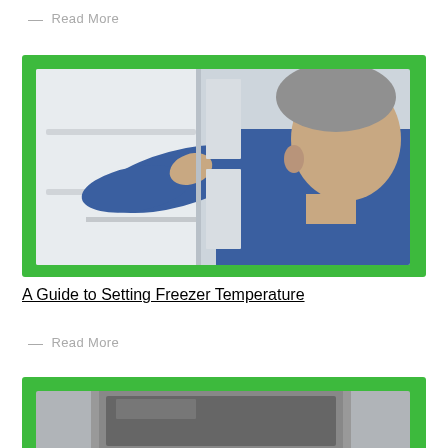— Read More
[Figure (photo): Man in blue shirt reaching into an open refrigerator/freezer, viewed from the side. The freezer interior is white with shelves visible.]
A Guide to Setting Freezer Temperature
— Read More
[Figure (photo): Bottom card showing the top portion of another article image, partially visible — appears to show a dark appliance or screen.]